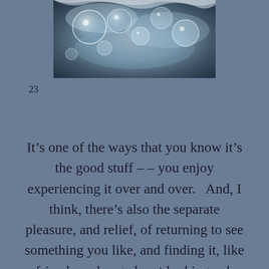[Figure (photo): Close-up photo of water bubbles and splashing water in blue-gray tones, positioned at top center of page]
23
It’s one of the ways that you know it’s the good stuff – – you enjoy experiencing it over and over.   And, I think, there’s also the separate pleasure, and relief, of returning to see something you like, and finding it, like a friend, unchanged, not looking a day older.